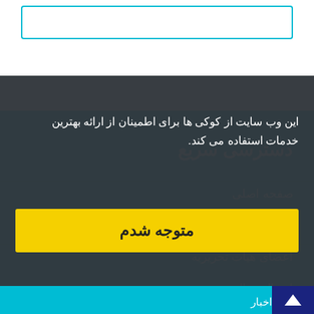[input box / search field]
دسترسی سریع
صفحه اصلی
درباره نشریه
اعضای هیات تحریریه
ارسال مقاله
تماس با ما
این وب سایت از کوکی ها برای اطمینان از ارائه بهترین خدمات استفاده می کند.
متوجه شدم